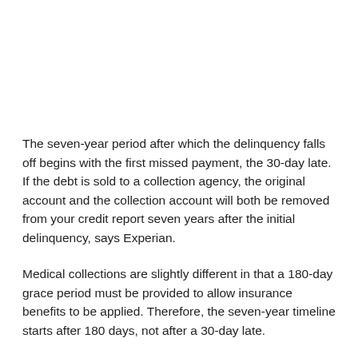The seven-year period after which the delinquency falls off begins with the first missed payment, the 30-day late. If the debt is sold to a collection agency, the original account and the collection account will both be removed from your credit report seven years after the initial delinquency, says Experian.
Medical collections are slightly different in that a 180-day grace period must be provided to allow insurance benefits to be applied. Therefore, the seven-year timeline starts after 180 days, not after a 30-day late.